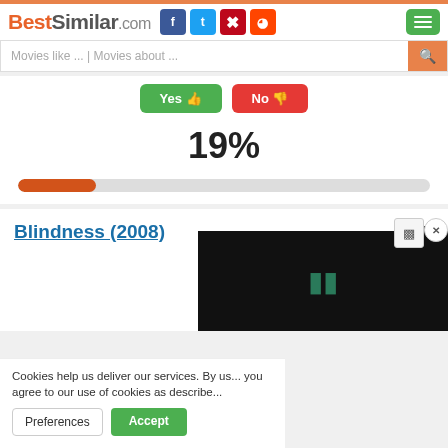BestSimilar.com
Movies like ... | Movies about ...
19%
[Figure (infographic): Progress bar showing 19% filled in orange/red on grey background]
Blindness (2008)
6.5
73K
Cookies help us deliver our services. By us... you agree to our use of cookies as describe...
Preferences
Accept